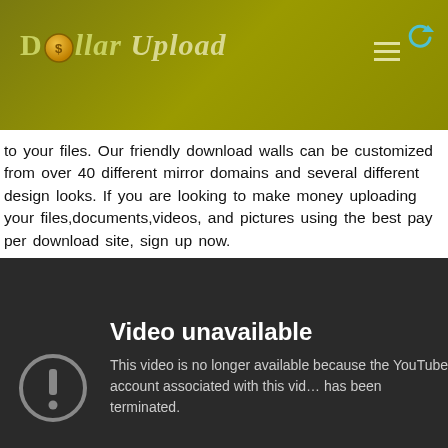[Figure (logo): Dollar Upload website logo on olive/yellow-green header bar with hamburger menu icon]
to your files. Our friendly download walls can be customized from over 40 different mirror domains and several different design looks. If you are looking to make money uploading your files,documents,videos, and pictures using the best pay per download site, sign up now.
[Figure (screenshot): YouTube video unavailable error screen on dark background showing exclamation icon and message: 'Video unavailable. This video is no longer available because the YouTube account associated with this video has been terminated.']